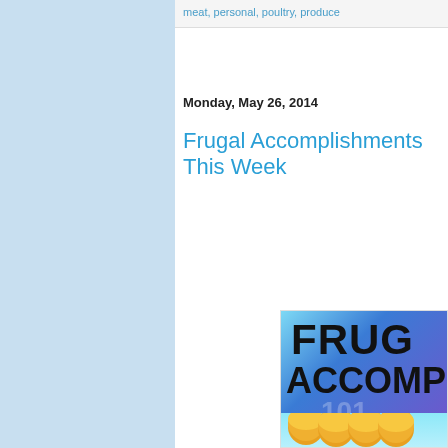meat, personal, poultry, produce
Monday, May 26, 2014
Frugal Accomplishments This Week
[Figure (illustration): Blog post header image with text 'FRUGAL ACCOMPLISHMENTS THIS WEEK' on a blue gradient background with gold coins at the bottom]